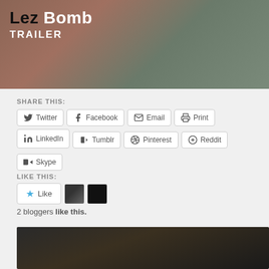[Figure (photo): Movie trailer thumbnail for 'Lez Bomb' showing two people, with title text overlay]
SHARE THIS:
Twitter | Facebook | Email | Print | LinkedIn | Tumblr | Pinterest | Reddit | Skype
LIKE THIS:
2 bloggers like this.
[Figure (photo): Bottom movie still showing close-up of people]